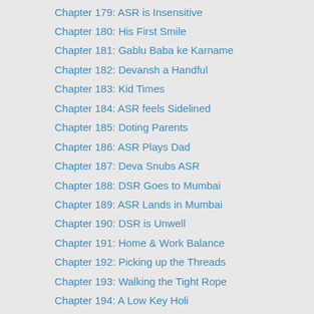Chapter 179: ASR is Insensitive
Chapter 180: His First Smile
Chapter 181: Gablu Baba ke Karname
Chapter 182: Devansh a Handful
Chapter 183: Kid Times
Chapter 184: ASR feels Sidelined
Chapter 185: Doting Parents
Chapter 186: ASR Plays Dad
Chapter 187: Deva Snubs ASR
Chapter 188: DSR Goes to Mumbai
Chapter 189: ASR Lands in Mumbai
Chapter 190: DSR is Unwell
Chapter 191: Home & Work Balance
Chapter 192: Picking up the Threads
Chapter 193: Walking the Tight Rope
Chapter 194: A Low Key Holi
Chapter 195: A Close Call
Chapter 196: Cross Purposes
Chapter 197: Khushi on the Run
Chapter 198: Still Running